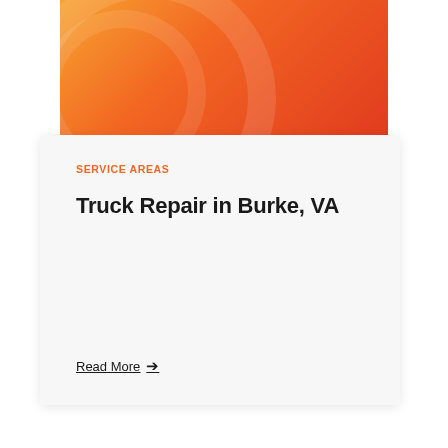[Figure (illustration): Orange-to-red gradient banner with decorative arcs in the upper center portion of the page]
SERVICE AREAS
Truck Repair in Burke, VA
Read More →